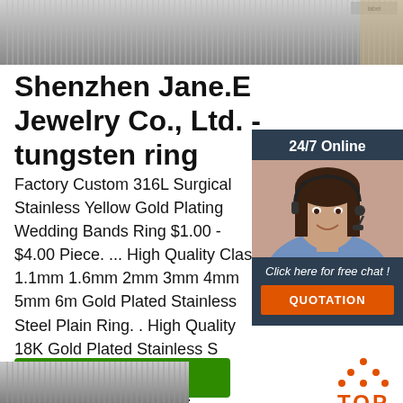[Figure (photo): Top banner image showing metal rods or wire arranged vertically, gray metallic texture]
Shenzhen Jane.E Jewelry Co., Ltd. - tungsten ring
Factory Custom 316L Surgical Stainless Yellow Gold Plating Wedding Bands Ring $1.00 - $4.00 Piece. ... High Quality Classic 1.1mm 1.6mm 2mm 3mm 4mm 5mm 6m Gold Plated Stainless Steel Plain Ring. . High Quality 18K Gold Plated Stainless S Cuba Link Chain Bracelet for Women. $2 $3.92 Piece.
[Figure (photo): Chat widget showing a customer service representative with headset, with '24/7 Online' header, 'Click here for free chat!' text and 'QUOTATION' button]
[Figure (other): Get Price green button]
[Figure (logo): TOP logo with orange dots forming a triangle shape above the word TOP]
[Figure (photo): Bottom partial image showing metal wire or rods bundled together]